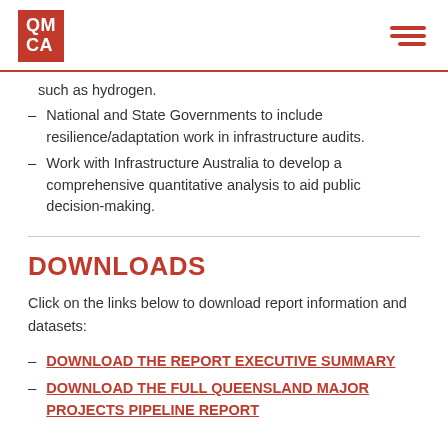QMCA logo and navigation menu
such as hydrogen.
National and State Governments to include resilience/adaptation work in infrastructure audits.
Work with Infrastructure Australia to develop a comprehensive quantitative analysis to aid public decision-making.
DOWNLOADS
Click on the links below to download report information and datasets:
DOWNLOAD THE REPORT EXECUTIVE SUMMARY
DOWNLOAD THE FULL QUEENSLAND MAJOR PROJECTS PIPELINE REPORT